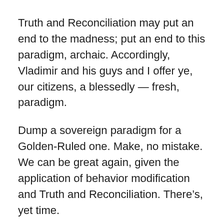Truth and Reconciliation may put an end to the madness; put an end to this paradigm, archaic. Accordingly, Vladimir and his guys and I offer ye, our citizens, a blessedly — fresh, paradigm.
Dump a sovereign paradigm for a Golden-Ruled one. Make, no mistake. We can be great again, given the application of behavior modification and Truth and Reconciliation. There’s, yet time.
This is TwittereZe; with Google Translate, it’s new and improved. Google Translate, improves, TwittereZe. With Google Translate, any writer improves her or his ability — to communicate.
It’s miraculous. It just is, what it is. This is to introduce